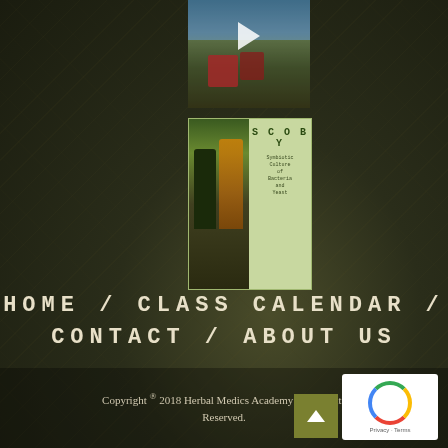[Figure (photo): Video thumbnail showing outdoor/mountain scene with hiker and red backpack, with a play button overlay]
[Figure (photo): SCOBY infographic thumbnail with green background, showing fermentation jars and text about Symbiotic Culture of Bacteria and Yeast]
HOME / CLASS CALENDAR / CONTACT / ABOUT US
Copyright ® 2018 Herbal Medics Academy | All Rights Reserved.